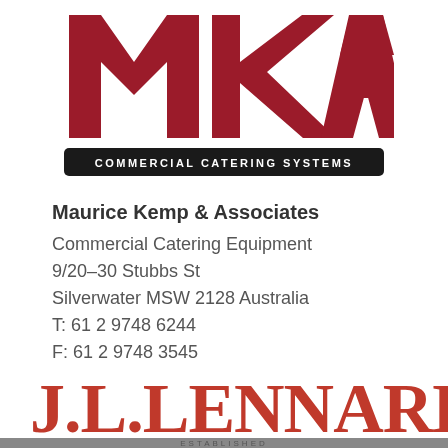[Figure (logo): MKA Commercial Catering Systems logo: large red MKA letters with a black rounded rectangle banner beneath reading COMMERCIAL CATERING SYSTEMS in white]
Maurice Kemp & Associates
Commercial Catering Equipment
9/20–30 Stubbs St
Silverwater MSW 2128 Australia
T: 61 2 9748 6244
F: 61 2 9748 3545
www.mauricekemp.com.au
[Figure (logo): J.L.LENNARD logo in large red serif letters with ESTABLISHED text below on a grey bar]